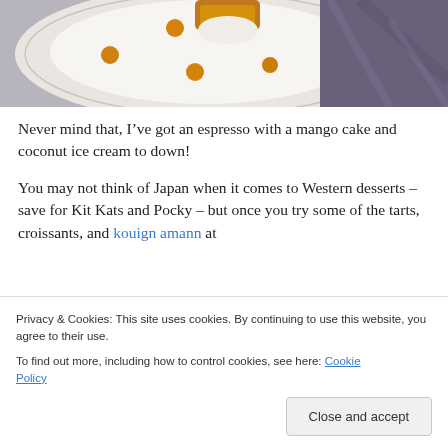[Figure (photo): Overhead view of a white plate with orange sauce dots and a dessert item, on a dark granite/stone surface]
Never mind that, I’ve got an espresso with a mango cake and coconut ice cream to down!
You may not think of Japan when it comes to Western desserts – save for Kit Kats and Pocky – but once you try some of the tarts, croissants, and kouign amann at
Privacy & Cookies: This site uses cookies. By continuing to use this website, you agree to their use.
To find out more, including how to control cookies, see here: Cookie Policy
Close and accept